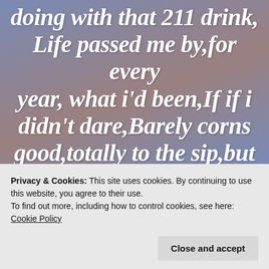doing with that 211 drink,Life passed me by,for every year, what i'd been,If if i didn't dare,Barely corns good,totally to the sip,but don't fall victim to it's mighty grip,1 day
Privacy & Cookies: This site uses cookies. By continuing to use this website, you agree to their use.
To find out more, including how to control cookies, see here: Cookie Policy
Close and accept